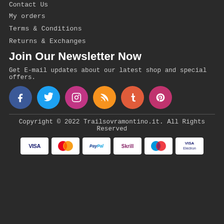Contact Us
My orders
Terms & Conditions
Returns & Exchanges
Join Our Newsletter Now
Get E-mail updates about our latest shop and special offers.
[Figure (infographic): Six social media icon circles: Facebook (blue, f), Twitter (cyan, bird), Instagram (magenta, camera), RSS (orange, feed), Tumblr (red-orange, t), Pinterest (pink, p)]
Copyright © 2022 Trailsovramontino.it. All Rights Reserved
[Figure (infographic): Payment method logos: VISA, MasterCard, PayPal, Skrill, Maestro, VISA Electron]